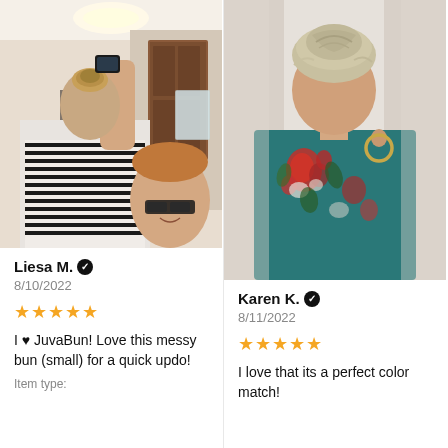[Figure (photo): Woman with messy bun hairstyle taking selfie in mirror, wearing black and white striped shirt]
Liesa M. ✓
8/10/2022
★★★★★
I ♥ JuvaBun! Love this messy bun (small) for a quick updo!
Item type:
[Figure (photo): Woman with blonde updo bun hairstyle, seen from behind, wearing teal floral dress and hoop earring]
Karen K. ✓
8/11/2022
★★★★★
I love that its a perfect color match!